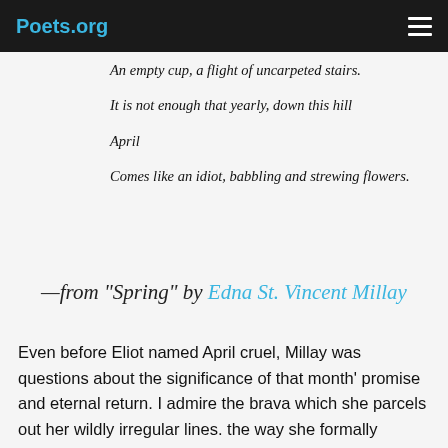Poets.org
An empty cup, a flight of uncarpeted stairs.

It is not enough that yearly, down this hill

April

Comes like an idiot, babbling and strewing flowers.
—from "Spring" by Edna St. Vincent Millay
Even before Eliot named April cruel, Millay was questions about the significance of that month' promise and eternal return. I admire the brava which she parcels out her wildly irregular lines. the way she formally emphasizes April's momen set against life's continual difficulty and resi